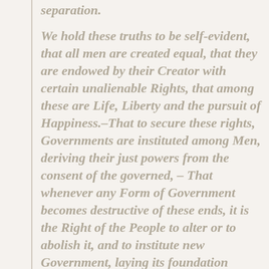separation.
We hold these truths to be self-evident, that all men are created equal, that they are endowed by their Creator with certain unalienable Rights, that among these are Life, Liberty and the pursuit of Happiness.–That to secure these rights, Governments are instituted among Men, deriving their just powers from the consent of the governed, – That whenever any Form of Government becomes destructive of these ends, it is the Right of the People to alter or to abolish it, and to institute new Government, laying its foundation